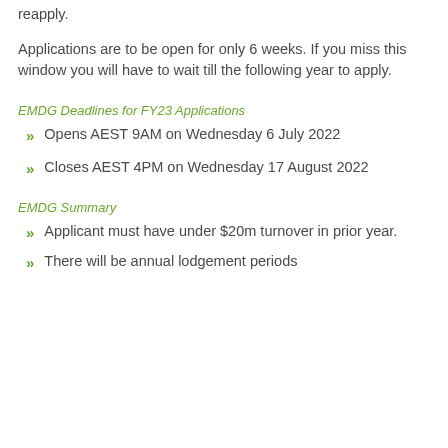reapply.
Applications are to be open for only 6 weeks.  If you miss this window you will have to wait till the following year to apply.
EMDG Deadlines for FY23 Applications
Opens AEST 9AM on Wednesday 6 July 2022
Closes AEST 4PM on Wednesday 17 August 2022
EMDG Summary
Applicant must have under $20m turnover in prior year.
There will be annual lodgement periods